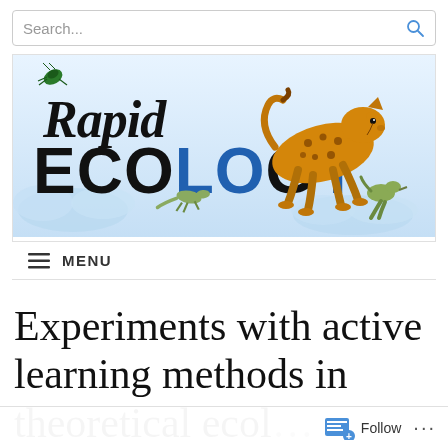[Figure (screenshot): Search bar with magnifying glass icon on the right]
[Figure (logo): Rapid Ecology website logo with illustrated cheetah, bird, lizard, beetle, and cloud background. 'Rapid' in italic black/green, 'ECOLOGY' in large bold black and blue letters.]
MENU
Experiments with active learning methods in theoretical ecol…